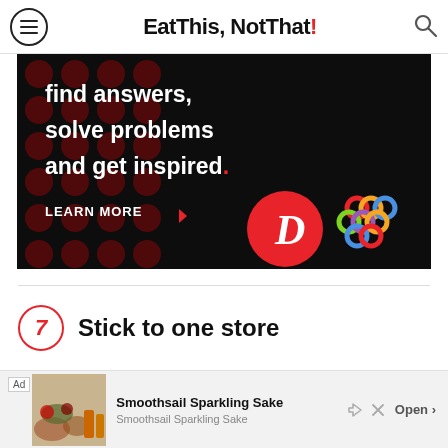Eat This, Not That!
[Figure (infographic): Dark advertisement banner with dark background and red polka-dot pattern on the left. White bold text reads 'find answers, solve problems and get inspired.' with a red period. Below is 'LEARN MORE' with a red arrow. Two logos visible: a red circle with white 'D' letterform, and a colorful interlocking rings/knot logo.]
7  Stick to one store
[Figure (infographic): Bottom advertisement bar for Smoothsail Sparkling Sake. Shows 'Ad' label, a food/drink image placeholder, product name 'Smoothsail Sparkling Sake', subtitle 'Smoothsail Sparkling Sake', and an 'Open >' button. Share and close icons on the right.]